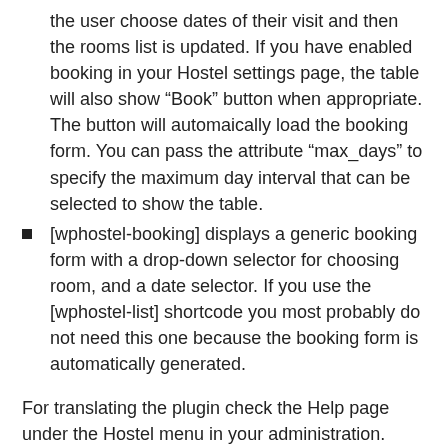the user choose dates of their visit and then the rooms list is updated. If you have enabled booking in your Hostel settings page, the table will also show “Book” button when appropriate. The button will automaically load the booking form. You can pass the attribute “max_days” to specify the maximum day interval that can be selected to show the table.
[wphostel-booking] displays a generic booking form with a drop-down selector for choosing room, and a date selector. If you use the [wphostel-list] shortcode you most probably do not need this one because the booking form is automatically generated.
For translating the plugin check the Help page under the Hostel menu in your administration.
COMMUNITY TRANSLATIONS